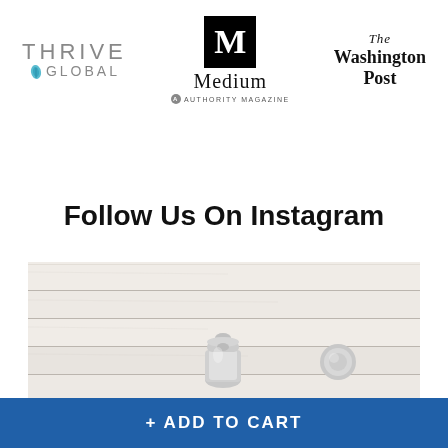[Figure (logo): Thrive Global logo - text logo with leaf icon]
[Figure (logo): Medium logo with black M box and Authority Magazine text below]
[Figure (logo): The Washington Post blackletter logo]
Follow Us On Instagram
[Figure (photo): Photo of a bathroom faucet with shiplap white wood plank wall background and chrome tap fixtures]
+ ADD TO CART